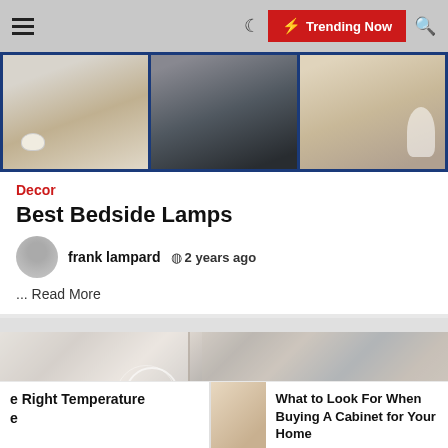☰  ☽  ⚡ Trending Now  🔍
[Figure (photo): Three photos of bedside lamps on nightstands]
Decor
Best Bedside Lamps
frank lampard  🕐 2 years ago
... Read More
[Figure (photo): Bedroom interior with mirror and bedside lamp]
e Right Temperature e
What to Look For When Buying A Cabinet for Your Home